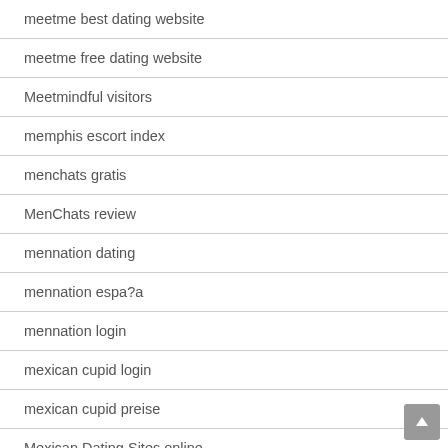meetme best dating website
meetme free dating website
Meetmindful visitors
memphis escort index
menchats gratis
MenChats review
mennation dating
mennation espa?a
mennation login
mexican cupid login
mexican cupid preise
Mexican Dating Sites online
Mexican Dating Sites service